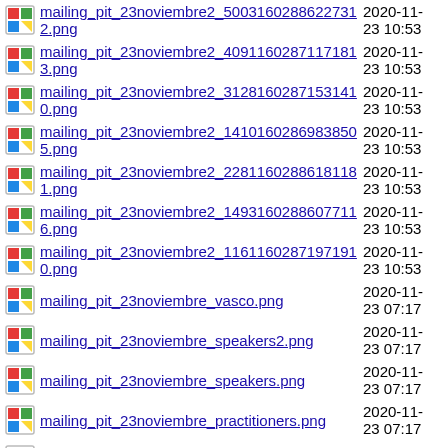mailing_pit_23noviembre2_500316028862273​12.png  2020-11-23 10:53
mailing_pit_23noviembre2_409116028711718​13.png  2020-11-23 10:53
mailing_pit_23noviembre2_312816028715314​10.png  2020-11-23 10:53
mailing_pit_23noviembre2_141016028698385​05.png  2020-11-23 10:53
mailing_pit_23noviembre2_228116028861811​81.png  2020-11-23 10:53
mailing_pit_23noviembre2_149316028860771​16.png  2020-11-23 10:53
mailing_pit_23noviembre2_116116028719719​10.png  2020-11-23 10:53
mailing_pit_23noviembre_vasco.png  2020-11-23 07:17
mailing_pit_23noviembre_speakers2.png  2020-11-23 07:17
mailing_pit_23noviembre_speakers.png  2020-11-23 07:17
mailing_pit_23noviembre_practitioners.png  2020-11-23 07:17
mailing_pit_23noviembre_javier.png  2020-11-